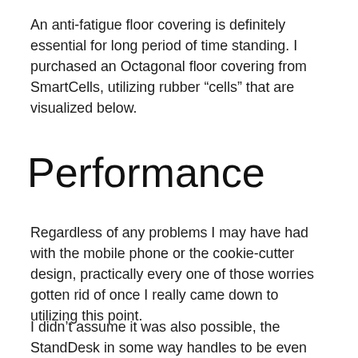An anti-fatigue floor covering is definitely essential for long period of time standing. I purchased an Octagonal floor covering from SmartCells, utilizing rubber “cells” that are visualized below.
Performance
Regardless of any problems I may have had with the mobile phone or the cookie-cutter design, practically every one of those worries gotten rid of once I really came down to utilizing this point.
I didn’t assume it was also possible, the StandDesk in some way handles to be even more steady than the Jarvis, both at sitting